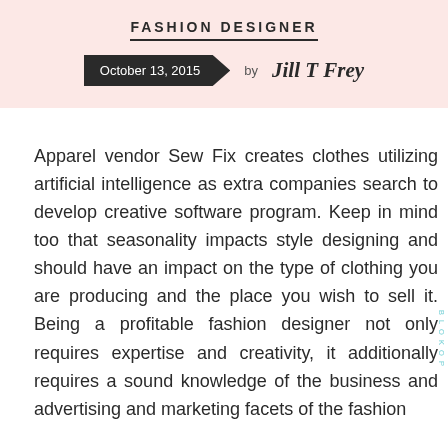FASHION DESIGNER
October 13, 2015  by Jill T Frey
Apparel vendor Sew Fix creates clothes utilizing artificial intelligence as extra companies search to develop creative software program. Keep in mind too that seasonality impacts style designing and should have an impact on the type of clothing you are producing and the place you wish to sell it. Being a profitable fashion designer not only requires expertise and creativity, it additionally requires a sound knowledge of the business and advertising and marketing facets of the fashion